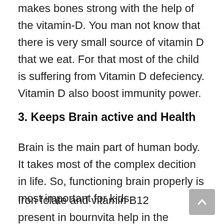makes bones strong with the help of the vitamin-D. You man not know that there is very small source of vitamin D that we eat. For that most of the child is suffering from Vitamin D defeciency. Vitamin D also boost immunity power.
3. Keeps Brain active and Health
Brain is the main part of human body. It takes most of the complex decition in life. So, functioning brain properly is most important for kids.
Iron folate and vitamin B12 present in bournvita help in the formation of